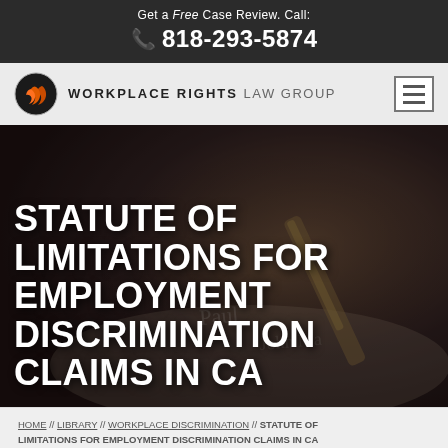Get a Free Case Review. Call: 818-293-5874
[Figure (logo): Workplace Rights Law Group logo with orange circular icon and text]
STATUTE OF LIMITATIONS FOR EMPLOYMENT DISCRIMINATION CLAIMS IN CA
[Figure (photo): Background photo of a hand signing a document with a fountain pen, dark moody tone]
HOME // LIBRARY // WORKPLACE DISCRIMINATION // STATUTE OF LIMITATIONS FOR EMPLOYMENT DISCRIMINATION CLAIMS IN CA